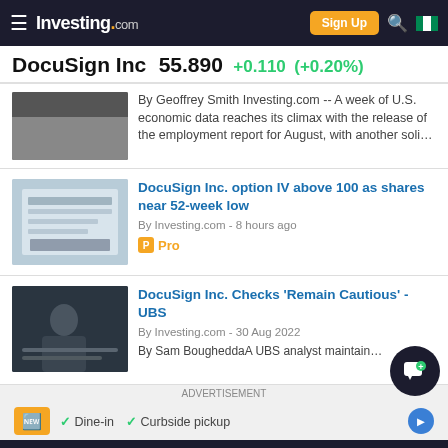Investing.com — Sign Up
DocuSign Inc 55.890 +0.110 (+0.20%)
By Geoffrey Smith Investing.com -- A week of U.S. economic data reaches its climax with the release of the employment report for August, with another soli…
DocuSign Inc. option IV above 100 as shares near 52-week low
By Investing.com - 8 hours ago
Pro
DocuSign Inc. Checks 'Remain Cautious' - UBS
By Investing.com - 30 Aug 2022
By Sam BougheddaA UBS analyst maintain…
ADVERTISEMENT
✓ Dine-in  ✓ Curbside pickup
DS3G Comments